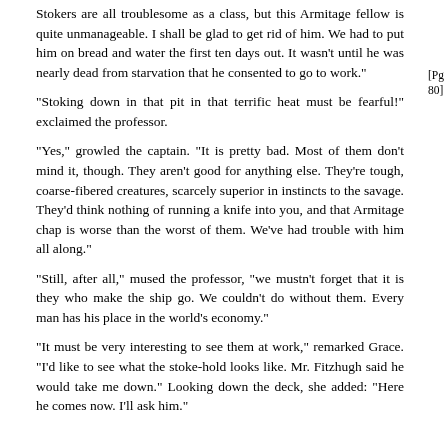Stokers are all troublesome as a class, but this Armitage fellow is quite unmanageable. I shall be glad to get rid of him. We had to put him on bread and water the first ten days out. It wasn't until he was nearly dead from starvation that he consented to go to work."
[Pg 80]
"Stoking down in that pit in that terrific heat must be fearful!" exclaimed the professor.
"Yes," growled the captain. "It is pretty bad. Most of them don't mind it, though. They aren't good for anything else. They're tough, coarse-fibered creatures, scarcely superior in instincts to the savage. They'd think nothing of running a knife into you, and that Armitage chap is worse than the worst of them. We've had trouble with him all along."
"Still, after all," mused the professor, "we mustn't forget that it is they who make the ship go. We couldn't do without them. Every man has his place in the world's economy."
"It must be very interesting to see them at work," remarked Grace. "I'd like to see what the stoke-hold looks like. Mr. Fitzhugh said he would take me down." Looking down the deck, she added: "Here he comes now. I'll ask him."